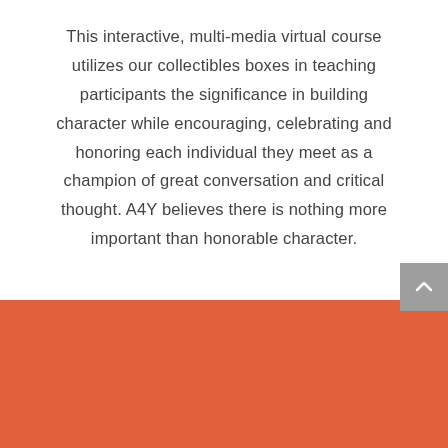This interactive, multi-media virtual course utilizes our collectibles boxes in teaching participants the significance in building character while encouraging, celebrating and honoring each individual they meet as a champion of great conversation and critical thought. A4Y believes there is nothing more important than honorable character.